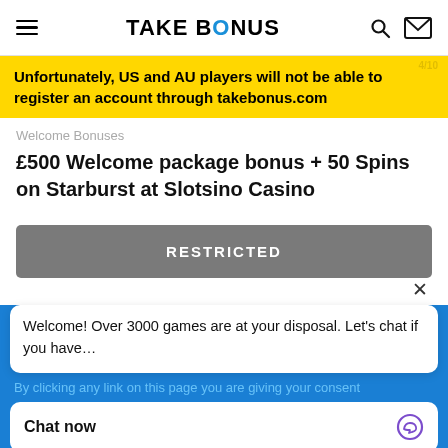TAKE BONUS
Unfortunately, US and AU players will not be able to register an account through takebonus.com
Welcome Bonuses
£500 Welcome package bonus + 50 Spins on Starburst at Slotsino Casino
RESTRICTED
Welcome! Over 3000 games are at your disposal. Let's chat if you have…
By clicking any link on this page you are giving your consent
Chat now